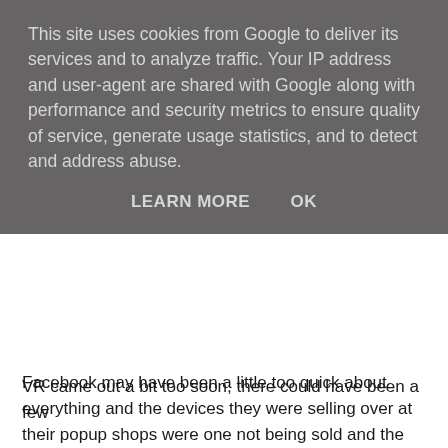This site uses cookies from Google to deliver its services and to analyze traffic. Your IP address and user-agent are shared with Google along with performance and security metrics to ensure quality of service, generate usage statistics, and to detect and address abuse.
LEARN MORE    OK
Facebook may have been a little too quick about everything and the devices they were selling over at their popup shops were one not being sold and the staff was there to promote demos just to get people talking about it and two people were not really interested because the set costs around $800 ($600 for the headset and $200 for the controller) and everyone who is interested in VR today has a much cheaper option that is PlayStation VR. Mark Zuckerberg plans on investing billions more on the VR in this decade and he says that VR may not be very profitable for a while. Now another question rises, which is that if people really do need VR or not? And if they do, do they have better and cheaper options which of course they do.
VR came out a bit too soon, there could have been a few...